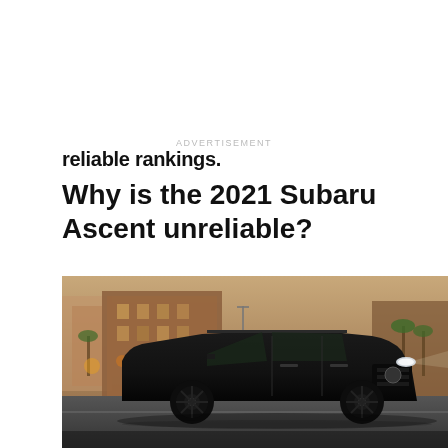reliable rankings.
ADVERTISEMENT
Why is the 2021 Subaru Ascent unreliable?
[Figure (photo): A black Subaru Ascent SUV driving on a city street with blurred buildings and palm trees in the background, photographed at dusk with warm ambient lighting.]